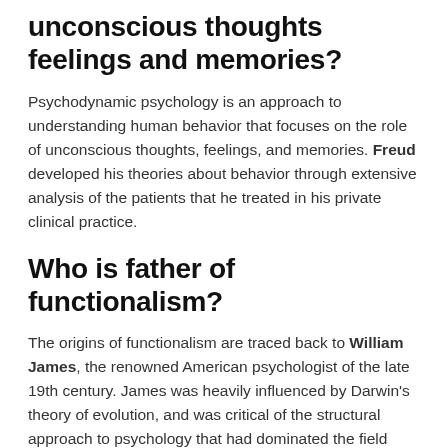unconscious thoughts feelings and memories?
Psychodynamic psychology is an approach to understanding human behavior that focuses on the role of unconscious thoughts, feelings, and memories. Freud developed his theories about behavior through extensive analysis of the patients that he treated in his private clinical practice.
Who is father of functionalism?
The origins of functionalism are traced back to William James, the renowned American psychologist of the late 19th century. James was heavily influenced by Darwin's theory of evolution, and was critical of the structural approach to psychology that had dominated the field since its inception.